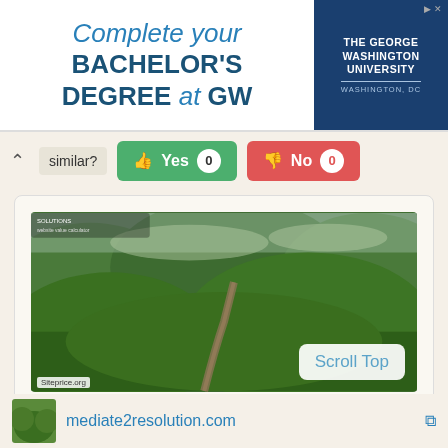[Figure (infographic): The George Washington University advertisement banner: 'Complete your BACHELOR'S DEGREE at GW' with university logo on right]
similar? Yes 0  No 0
[Figure (photo): Scenic mountain trail through lush green hills, winding path visible, watermarked with Siteprice.org]
Scroll Top
♥ Like  0
mediate2resolution.com